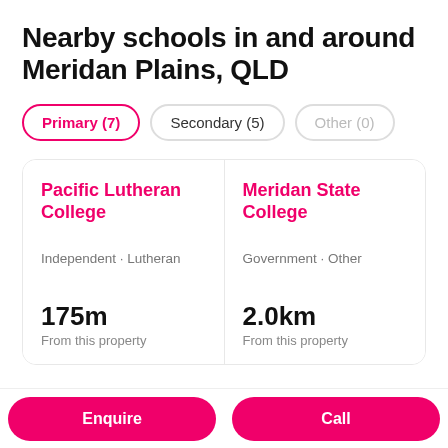Nearby schools in and around Meridan Plains, QLD
Primary (7)
Secondary (5)
Other (0)
Pacific Lutheran College
Independent · Lutheran
175m
From this property
Meridan State College
Government · Other
2.0km
From this property
Enquire | Call